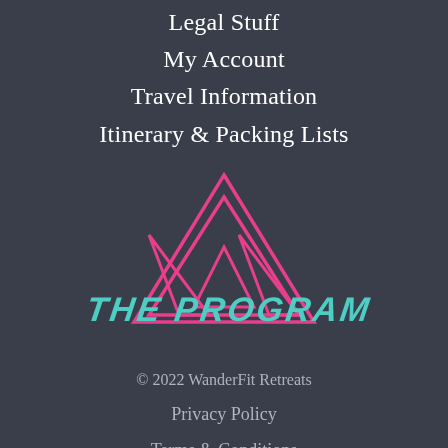Legal Stuff
My Account
Travel Information
Itinerary & Packing Lists
[Figure (logo): WanderFit Retreats logo: nested geometric W shape made of pink triangle outlines, with 'THE PROGRAM' text in teal italic across the center]
© 2022 WanderFit Retreats
Privacy Policy
Terms & Conditions